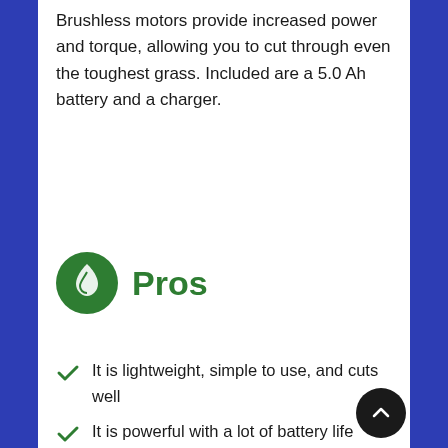Brushless motors provide increased power and torque, allowing you to cut through even the toughest grass. Included are a 5.0 Ah battery and a charger.
Pros
It is lightweight, simple to use, and cuts well
It is powerful with a lot of battery life